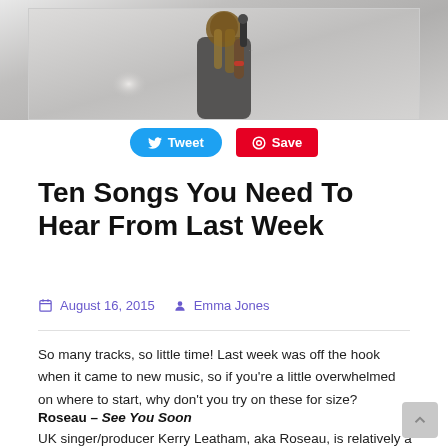[Figure (photo): Photo of a female singer holding a microphone, with long hair, performing on stage against a light background.]
Tweet   Save
Ten Songs You Need To Hear From Last Week
August 16, 2015   Emma Jones
So many tracks, so little time! Last week was off the hook when it came to new music, so if you're a little overwhelmed on where to start, why don't you try on these for size?
Roseau – See You Soon
UK singer/producer Kerry Leatham, aka Roseau, is relatively a